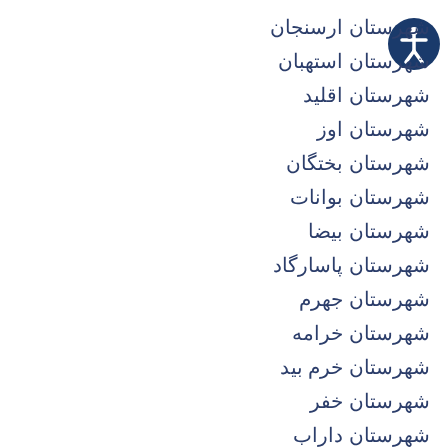[Figure (logo): Accessibility icon - blue circle with white figure]
شهرستان ارسنجان
شهرستان استهبان
شهرستان اقلید
شهرستان اوز
شهرستان بختگان
شهرستان بوانات
شهرستان بیضا
شهرستان پاسارگاد
شهرستان جهرم
شهرستان خرامه
شهرستان خرم بید
شهرستان خفر
شهرستان داراب